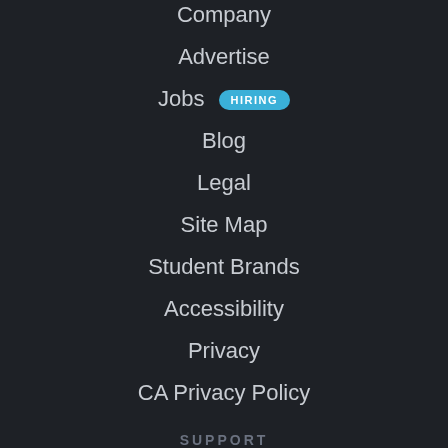Company
Advertise
Jobs HIRING
Blog
Legal
Site Map
Student Brands
Accessibility
Privacy
CA Privacy Policy
SUPPORT
Help
Contact Us
CA Do Not Sell My Personal Information